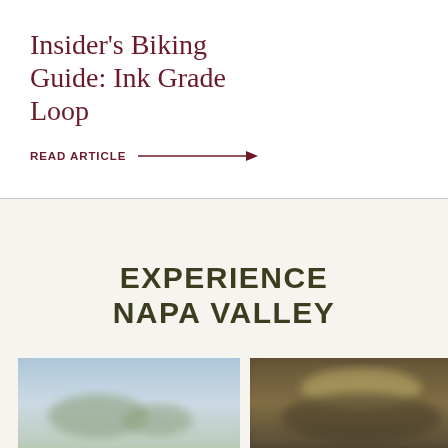Insider's Biking Guide: Ink Grade Loop
READ ARTICLE →
EXPERIENCE NAPA VALLEY
[Figure (photo): Blurred outdoor landscape photo with blue sky, left side]
[Figure (photo): Blurred indoor/covered outdoor scene with warm tones, right side]